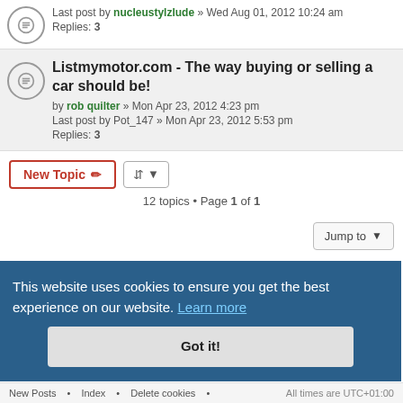Last post by nucleustylzlude » Wed Aug 01, 2012 10:24 am
Replies: 3
Listmymotor.com - The way buying or selling a car should be! by rob quilter » Mon Apr 23, 2012 4:23 pm
Last post by Pot_147 » Mon Apr 23, 2012 5:53 pm
Replies: 3
12 topics • Page 1 of 1
FORUM PERMISSIONS
You cannot reply to topics in this forum.
You cannot edit your posts in this forum.
You cannot delete your posts in this forum.
You cannot post attachments in this forum.
This website uses cookies to ensure you get the best experience on our website. Learn more Got it!
New Posts  •  Index  •  Delete cookies  •  All times are UTC+01:00